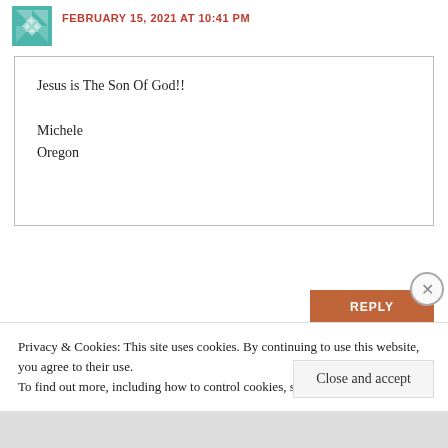FEBRUARY 15, 2021 AT 10:41 PM
Jesus is The Son Of God!!

Michele
Oregon
REPLY
Emmerson Leach
MARCH 7, 2021 AT 8:26 PM
Privacy & Cookies: This site uses cookies. By continuing to use this website, you agree to their use.
To find out more, including how to control cookies, see here: Cookie Policy
Close and accept